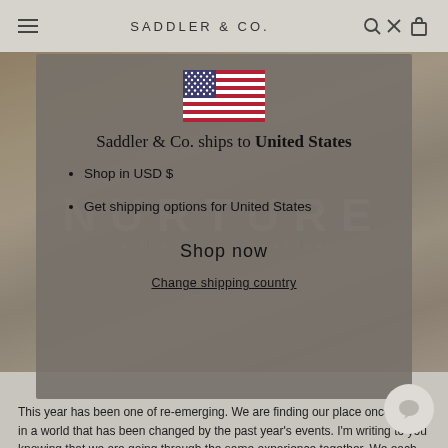SADDLER & CO.
[Figure (screenshot): Website screenshot showing a Saddler & Co. e-commerce page with a country selector modal overlay. The modal shows a US flag, heading 'Saddler & Co. ships to United States', bullet points 'Shop in USD $' and 'Get shipping options for United States', a 'Shop now' button, and a 'Change shipping country' link. Background shows a nature/lifestyle product image with NURTURE text overlay.]
Saddler & Co. ships to United States
Shop in USD $
Get shipping options for United States
Shop now
Change shipping country
This year has been one of re-emerging. We are finding our place once again, in a world that has been changed by the past year's events. I'm writing to you knowing that we are going through the same experience together. We each want to hold on to the lessons we have learnt, and we fear falling back into a swirl of busy existence.